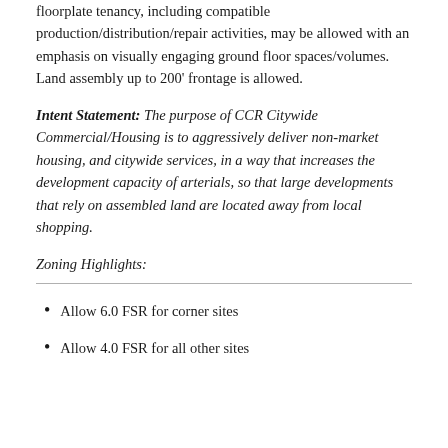floorplate tenancy, including compatible production/distribution/repair activities, may be allowed with an emphasis on visually engaging ground floor spaces/volumes.   Land assembly up to 200' frontage is allowed.
Intent Statement: The purpose of CCR Citywide Commercial/Housing is to aggressively deliver non-market housing, and citywide services, in a way that increases the development capacity of arterials, so that large developments that rely on assembled land are located away from local shopping.
Zoning Highlights:
Allow 6.0 FSR for corner sites
Allow 4.0 FSR for all other sites